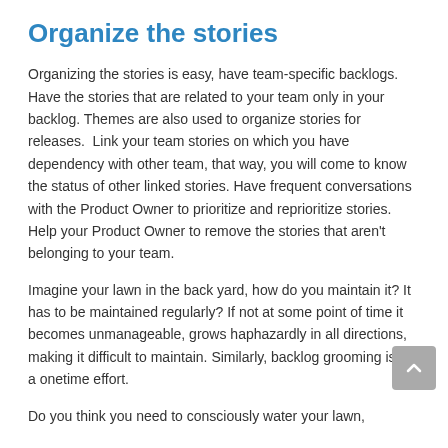Organize the stories
Organizing the stories is easy, have team-specific backlogs. Have the stories that are related to your team only in your backlog. Themes are also used to organize stories for releases.  Link your team stories on which you have dependency with other team, that way, you will come to know the status of other linked stories. Have frequent conversations with the Product Owner to prioritize and reprioritize stories.  Help your Product Owner to remove the stories that aren't belonging to your team.
Imagine your lawn in the back yard, how do you maintain it? It has to be maintained regularly? If not at some point of time it becomes unmanageable, grows haphazardly in all directions, making it difficult to maintain. Similarly, backlog grooming is not a onetime effort.
Do you think you need to consciously water your lawn,